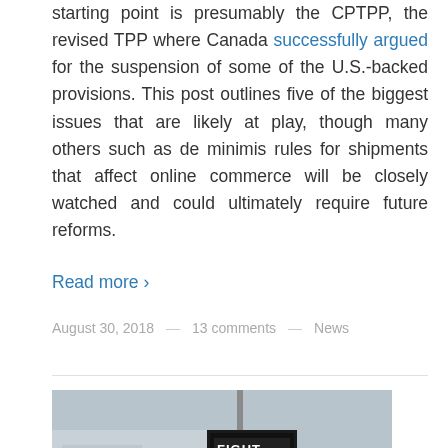starting point is presumably the CPTPP, the revised TPP where Canada successfully argued for the suspension of some of the U.S.-backed provisions. This post outlines five of the biggest issues that are likely at play, though many others such as de minimis rules for shipments that affect online commerce will be closely watched and could ultimately require future reforms.
Read more ›
August 30, 2018 — 13 comments — News
[Figure (photo): Photograph of a protest sign on a pole reading 'FIGHT FOR YOUR DIGITAL RIGHTS!' in front of a building]